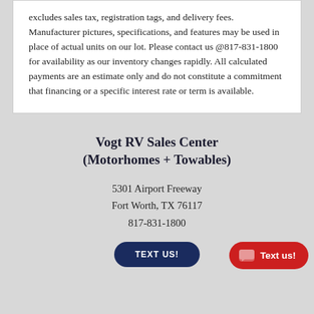excludes sales tax, registration tags, and delivery fees. Manufacturer pictures, specifications, and features may be used in place of actual units on our lot. Please contact us @817-831-1800 for availability as our inventory changes rapidly. All calculated payments are an estimate only and do not constitute a commitment that financing or a specific interest rate or term is available.
Vogt RV Sales Center (Motorhomes + Towables)
5301 Airport Freeway
Fort Worth, TX 76117
817-831-1800
TEXT US!
Text us!